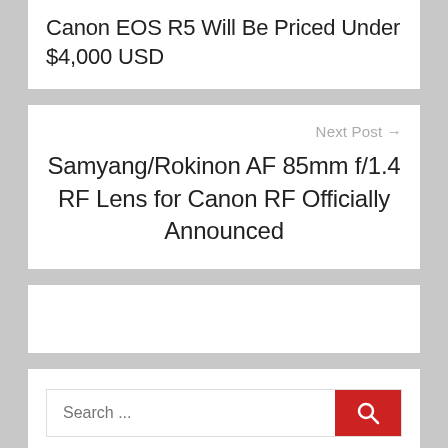Canon EOS R5 Will Be Priced Under $4,000 USD
Next Post →
Samyang/Rokinon AF 85mm f/1.4 RF Lens for Canon RF Officially Announced
Search ...
Follow US!